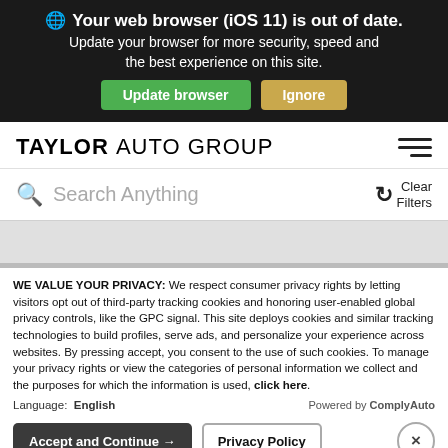[Figure (screenshot): Browser update notification banner with dark background, showing 'Your web browser (iOS 11) is out of date.' with Update browser (green) and Ignore (gold) buttons]
[Figure (logo): Taylor Auto Group logo in bold black text with hamburger menu icon on the right]
Search Anything — search bar with magnifying glass icon and Clear Filters button
WE VALUE YOUR PRIVACY: We respect consumer privacy rights by letting visitors opt out of third-party tracking cookies and honoring user-enabled global privacy controls, like the GPC signal. This site deploys cookies and similar tracking technologies to build profiles, serve ads, and personalize your experience across websites. By pressing accept, you consent to the use of such cookies. To manage your privacy rights or view the categories of personal information we collect and the purposes for which the information is used, click here.
Language:  English    Powered by ComplyAuto
Accept and Continue →    Privacy Policy    ×